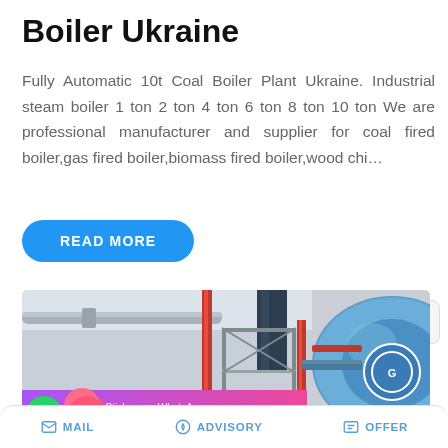Boiler Ukraine
Fully Automatic 10t Coal Boiler Plant Ukraine. Industrial steam boiler 1 ton 2 ton 4 ton 6 ton 8 ton 10 ton We are professional manufacturer and supplier for coal fired boiler,gas fired boiler,biomass fired boiler,wood chi…
READ MORE
[Figure (photo): Industrial boiler room with large cylindrical blue boiler, red pipes, metal ductwork, and steel scaffolding inside a white-walled facility. A WhatsApp sticker save overlay is visible at the bottom with purple-pink gradient and messenger icons.]
MAIL   ADVISORY   OFFER